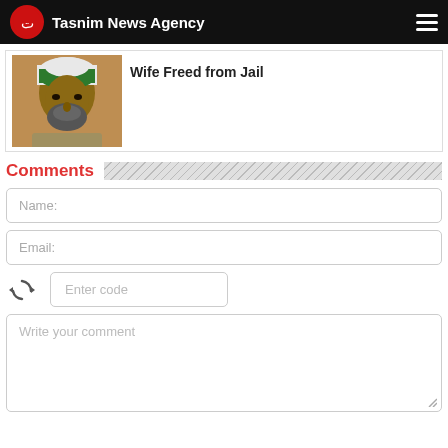Tasnim News Agency
Wife Freed from Jail
[Figure (photo): Portrait photo of a man wearing a green and white turban/head covering]
Comments
Name:
Email:
Enter code
Write your comment